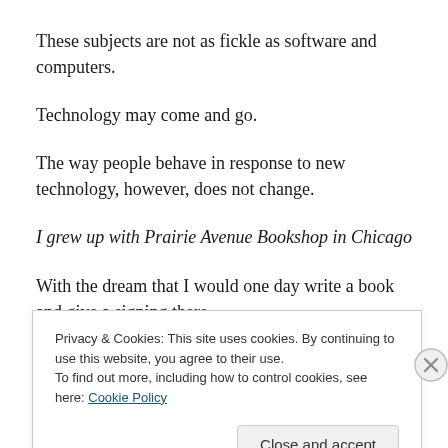These subjects are not as fickle as software and computers.
Technology may come and go.
The way people behave in response to new technology, however, does not change.
I grew up with Prairie Avenue Bookshop in Chicago
With the dream that I would one day write a book and give a signing there
Privacy & Cookies: This site uses cookies. By continuing to use this website, you agree to their use.
To find out more, including how to control cookies, see here: Cookie Policy
Close and accept